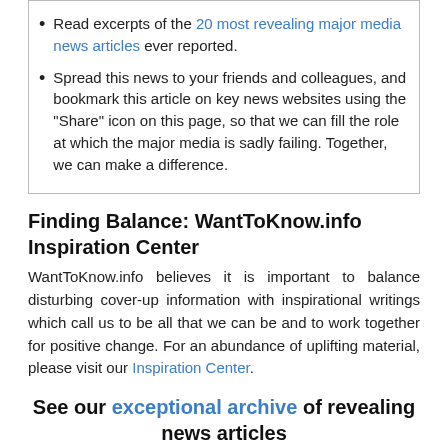Read excerpts of the 20 most revealing major media news articles ever reported.
Spread this news to your friends and colleagues, and bookmark this article on key news websites using the "Share" icon on this page, so that we can fill the role at which the major media is sadly failing. Together, we can make a difference.
Finding Balance: WantToKnow.info Inspiration Center
WantToKnow.info believes it is important to balance disturbing cover-up information with inspirational writings which call us to be all that we can be and to work together for positive change. For an abundance of uplifting material, please visit our Inspiration Center.
See our exceptional archive of revealing news articles